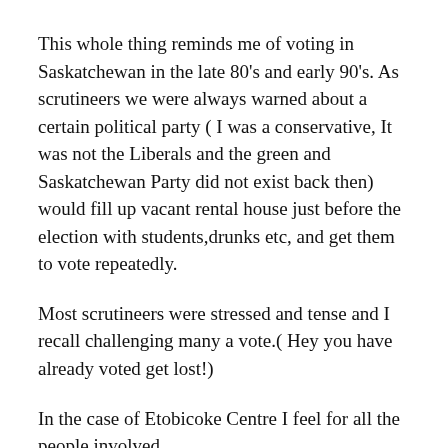This whole thing reminds me of voting in Saskatchewan in the late 80's and early 90's. As scrutineers we were always warned about a certain political party ( I was a conservative, It was not the Liberals and the green and Saskatchewan Party did not exist back then) would fill up vacant rental house just before the election with students,drunks etc, and get them to vote repeatedly.
Most scrutineers were stressed and tense and I recall challenging many a vote.( Hey you have already voted get lost!)
In the case of Etobicoke Centre I feel for all the people involved.
I feel for our guy because as the judge said he did nothing wrong and it was because of Elections